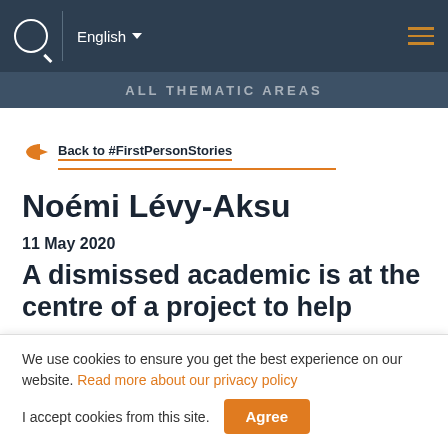English | ALL THEMATIC AREAS
Back to #FirstPersonStories
Noémi Lévy-Aksu
11 May 2020
A dismissed academic is at the centre of a project to help
We use cookies to ensure you get the best experience on our website. Read more about our privacy policy
I accept cookies from this site.